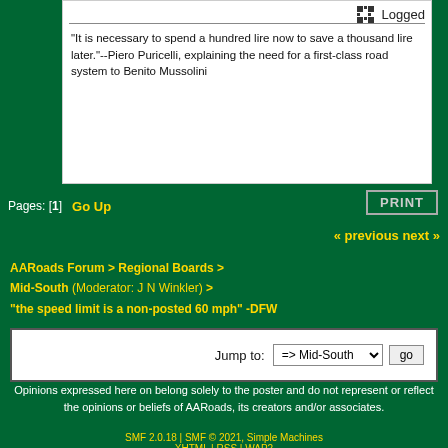Logged
"It is necessary to spend a hundred lire now to save a thousand lire later."--Piero Puricelli, explaining the need for a first-class road system to Benito Mussolini
Pages: [1]  Go Up  PRINT
« previous next »
AARoads Forum > Regional Boards > Mid-South (Moderator: J N Winkler) > "the speed limit is a non-posted 60 mph" -DFW
Jump to: => Mid-South  go
Opinions expressed here on belong solely to the poster and do not represent or reflect the opinions or beliefs of AARoads, its creators and/or associates.
SMF 2.0.18 | SMF © 2021, Simple Machines | XHTML | RSS | WAP2